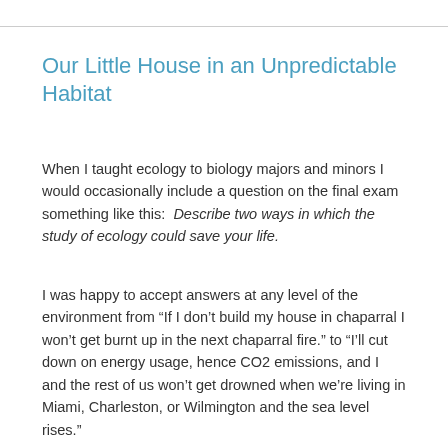Our Little House in an Unpredictable Habitat
When I taught ecology to biology majors and minors I would occasionally include a question on the final exam something like this:  Describe two ways in which the study of ecology could save your life.
I was happy to accept answers at any level of the environment from “If I don’t build my house in chaparral I won’t get burnt up in the next chaparral fire.” to “I’ll cut down on energy usage, hence CO2 emissions, and I and the rest of us won’t get drowned when we’re living in Miami, Charleston, or Wilmington and the sea level rises.”